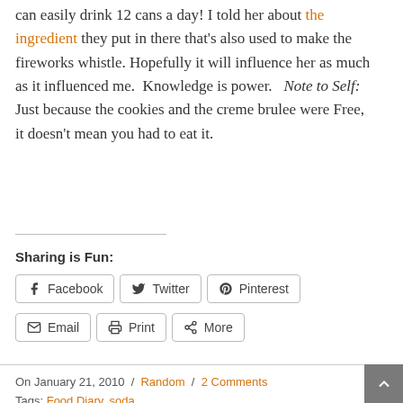can easily drink 12 cans a day! I told her about the ingredient they put in there that's also used to make the fireworks whistle. Hopefully it will influence her as much as it influenced me.  Knowledge is power.   Note to Self: Just because the cookies and the creme brulee were Free, it doesn't mean you had to eat it.
Sharing is Fun:
Facebook  Twitter  Pinterest  Email  Print  More
On January 21, 2010 / Random / 2 Comments
Tags: Food Diary, soda